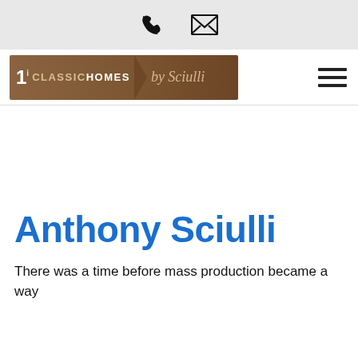Phone and email contact icons
[Figure (logo): Classic Homes by Sciulli logo — brown banner with stylized number 1, CLASSICHOMES text and italic script 'by Sciulli']
Anthony Sciulli
There was a time before mass production became a way